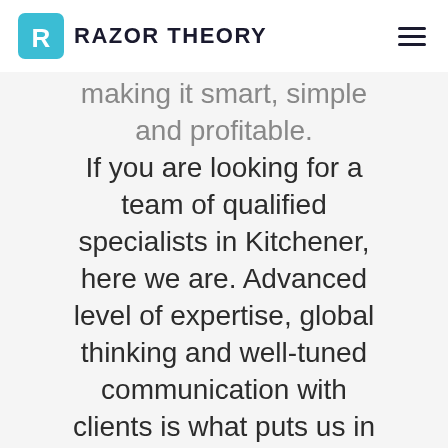RAZOR THEORY
making it smart, simple and profitable. If you are looking for a team of qualified specialists in Kitchener, here we are. Advanced level of expertise, global thinking and well-tuned communication with clients is what puts us in front of others. We don't copy. We create.